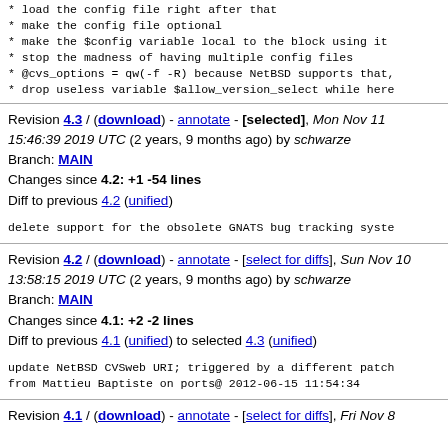* load the config file right after that
* make the config file optional
* make the $config variable local to the block using it
* stop the madness of having multiple config files
* @cvs_options = qw(-f -R) because NetBSD supports that,
* drop useless variable $allow_version_select while here
Revision 4.3 / (download) - annotate - [selected], Mon Nov 11 15:46:39 2019 UTC (2 years, 9 months ago) by schwarze
Branch: MAIN
Changes since 4.2: +1 -54 lines
Diff to previous 4.2 (unified)
delete support for the obsolete GNATS bug tracking syste
Revision 4.2 / (download) - annotate - [select for diffs], Sun Nov 10 13:58:15 2019 UTC (2 years, 9 months ago) by schwarze
Branch: MAIN
Changes since 4.1: +2 -2 lines
Diff to previous 4.1 (unified) to selected 4.3 (unified)
update NetBSD CVSweb URI; triggered by a different patch
from Mattieu Baptiste on ports@ 2012-06-15 11:54:34
Revision 4.1 / (download) - annotate - [select for diffs], Fri Nov 8